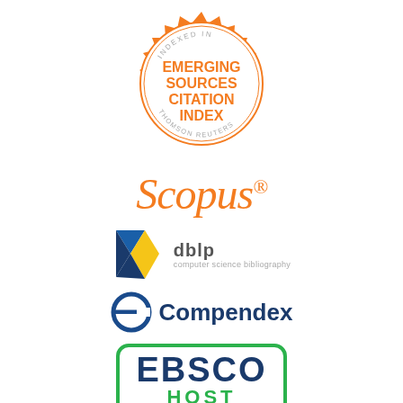[Figure (logo): Circular badge with orange serrated border. Text reads 'INDEXED IN' at top, 'EMERGING SOURCES CITATION INDEX' in orange bold text in center, 'THOMSON REUTERS' along the bottom arc in grey.]
[Figure (logo): Scopus logo in orange italic serif font with registered trademark superscript.]
[Figure (logo): DBLP logo: colorful diamond shape made of blue, yellow, and dark blue triangles, followed by text 'dblp' in bold grey and 'computer science bibliography' in small grey text.]
[Figure (logo): Compendex logo: dark blue circular 'e' icon with a small notch, followed by 'Compendex' in dark navy bold text.]
[Figure (logo): EBSCOhost logo: rounded rectangle border in green, 'EBSCO' in large dark navy bold text on top, 'HOST' in large green bold text below.]